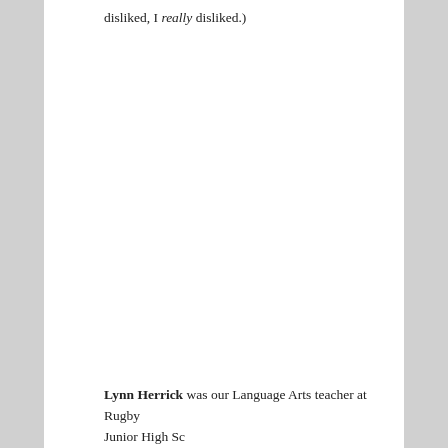disliked, I really disliked.)
Lynn Herrick was our Language Arts teacher at Rugby Junior High School in the late 70s. She's known as the d